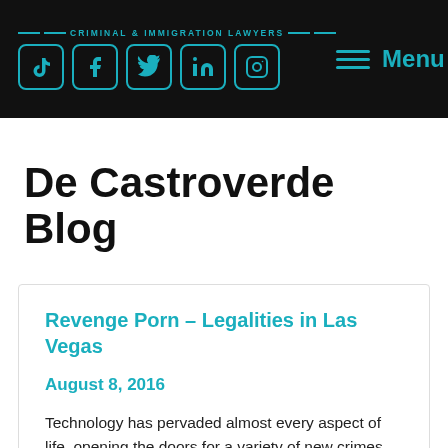CRIMINAL & IMMIGRATION LAWYERS — social icons: TikTok, Facebook, Twitter, LinkedIn, Instagram — Menu
De Castroverde Blog
Revenge Porn – Legalities in Las Vegas
August 8, 2016
Technology has pervaded almost every aspect of life, opening the doors for a variety of new crimes that weren't previously an issue. One crime that has